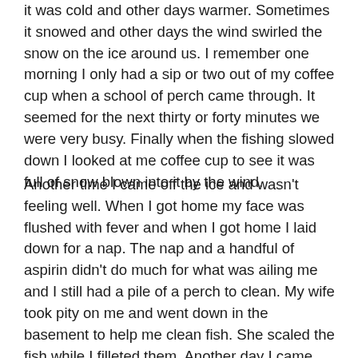it was cold and other days warmer. Sometimes it snowed and other days the wind swirled the snow on the ice around us. I remember one morning I only had a sip or two out of my coffee cup when a school of perch came through. It seemed for the next thirty or forty minutes we were very busy. Finally when the fishing slowed down I looked at me coffee cup to see it was full of snow blown into it by the wind.
Another time I came off the ice and wasn't feeling well. When I got home my face was flushed with fever and when I got home I laid down for a nap. The nap and a handful of aspirin didn't do much for what was ailing me and I still had a pile of a perch to clean. My wife took pity on me and went down in the basement to help me clean fish. She scaled the fish while I filleted them. Another day I came home with a bad case of chills. I kicked off my boots and sat down in the living room still dressed in Grandpa's old deer hunting suit and she tucked blankets around me, brought me hot tea and aspirins. It took me a couple of hours before I felt normal again.